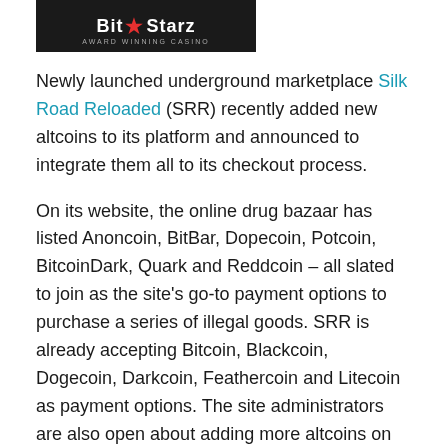[Figure (logo): BitStarz Award Winning Casino logo — dark banner with white text 'Bit★Starz' and subtitle 'AWARD WINNING CASINO']
Newly launched underground marketplace Silk Road Reloaded (SRR) recently added new altcoins to its platform and announced to integrate them all to its checkout process.
On its website, the online drug bazaar has listed Anoncoin, BitBar, Dopecoin, Potcoin, BitcoinDark, Quark and Reddcoin – all slated to join as the site's go-to payment options to purchase a series of illegal goods. SRR is already accepting Bitcoin, Blackcoin, Dogecoin, Darkcoin, Feathercoin and Litecoin as payment options. The site administrators are also open about adding more altcoins on request.
The online marketplace has integrated a special online conversion tool that accepts payments in